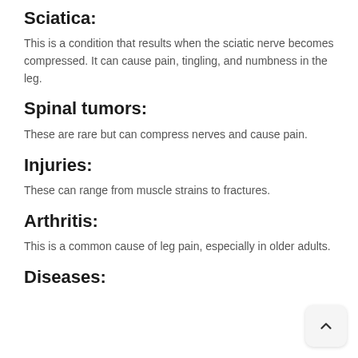Sciatica:
This is a condition that results when the sciatic nerve becomes compressed. It can cause pain, tingling, and numbness in the leg.
Spinal tumors:
These are rare but can compress nerves and cause pain.
Injuries:
These can range from muscle strains to fractures.
Arthritis:
This is a common cause of leg pain, especially in older adults.
Diseases: